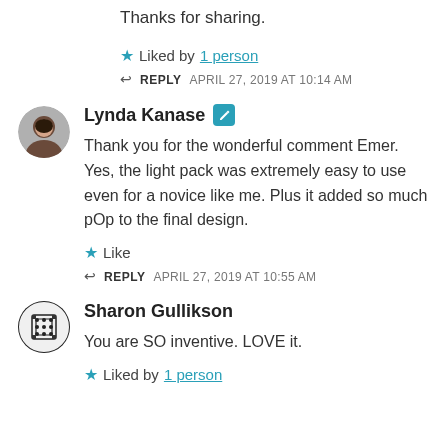Thanks for sharing.
★ Liked by 1 person
↩ REPLY   APRIL 27, 2019 AT 10:14 AM
Lynda Kanase
Thank you for the wonderful comment Emer. Yes, the light pack was extremely easy to use even for a novice like me. Plus it added so much pOp to the final design.
★ Like
↩ REPLY   APRIL 27, 2019 AT 10:55 AM
Sharon Gullikson
You are SO inventive. LOVE it.
★ Liked by 1 person